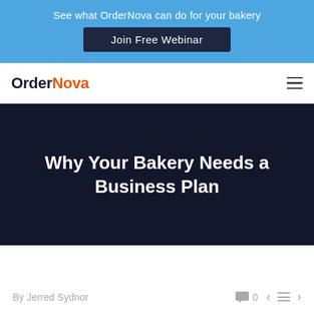See what OrderNova can do for your bakery
Join Free Webinar
OrderNova
Why Your Bakery Needs a Business Plan
By Jerred Sydnor
0